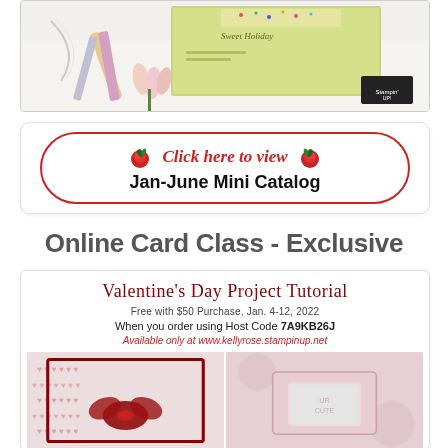[Figure (photo): Photo of Stampin' Up catalog with craft supplies, tulips, and pencils on a white surface. A Stampin' Up logo stamp is visible in the lower right corner.]
[Figure (infographic): Promotional button with red rose icons and text 'Click here to view Jan-June Mini Catalog' inside a rounded red border rectangle.]
Online Card Class - Exclusive
[Figure (infographic): Promotional box for Valentine's Day Project Tutorial. Text: 'Valentine's Day Project Tutorial', 'Free with $50 Purchase, Jan. 4-12, 2022', 'When you order using Host Code 7A9KB26J', 'Available only at www.kellyrose.stampinup.net'. Below are two Valentine card photos side by side.]